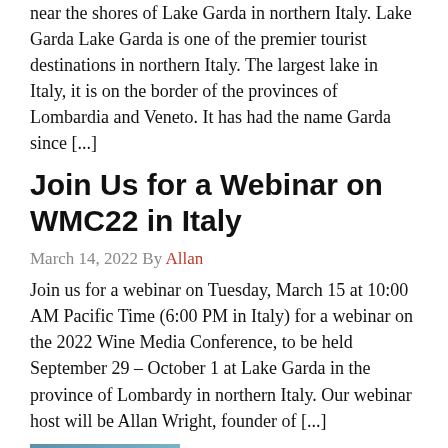near the shores of Lake Garda in northern Italy. Lake Garda Lake Garda is one of the premier tourist destinations in northern Italy. The largest lake in Italy, it is on the border of the provinces of Lombardia and Veneto. It has had the name Garda since [...]
Join Us for a Webinar on WMC22 in Italy
March 14, 2022 By Allan
Join us for a webinar on Tuesday, March 15 at 10:00 AM Pacific Time (6:00 PM in Italy) for a webinar on the 2022 Wine Media Conference, to be held September 29 – October 1 at Lake Garda in the province of Lombardy in northern Italy. Our webinar host will be Allan Wright, founder of [...]
[Figure (photo): Thumbnail photo of Lake Garda or Italian landmark]
Wine Media Conference Heading to Italy in 2022